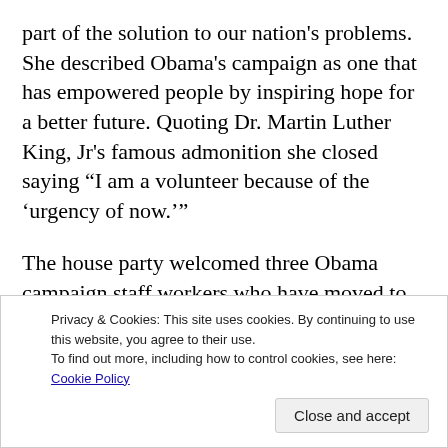part of the solution to our nation's problems. She described Obama's campaign as one that has empowered people by inspiring hope for a better future. Quoting Dr. Martin Luther King, Jr's famous admonition she closed saying "I am a volunteer because of the 'urgency of now'."
The house party welcomed three Obama campaign staff workers who have moved to Beaver County. There was a lively discussion of the economic problems facing the working people of the district many of whom are "a paycheck away from poverty." Many retirees find it difficult to make ends meet. All participants shared experiences talking to voters who are confused about their choice in November due t... r... s...
Privacy & Cookies: This site uses cookies. By continuing to use this website, you agree to their use.
To find out more, including how to control cookies, see here: Cookie Policy
Close and accept